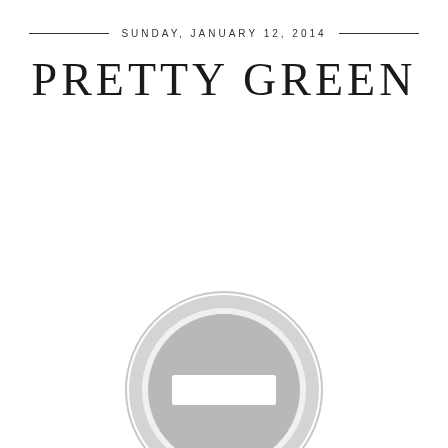SUNDAY, JANUARY 12, 2014
PRETTY GREEN
[Figure (illustration): A greyscale circular 'no entry' style icon — a large grey filled circle with a white outer ring outline and a white horizontal rectangle bar in the center, resembling a placeholder or blocked image icon.]